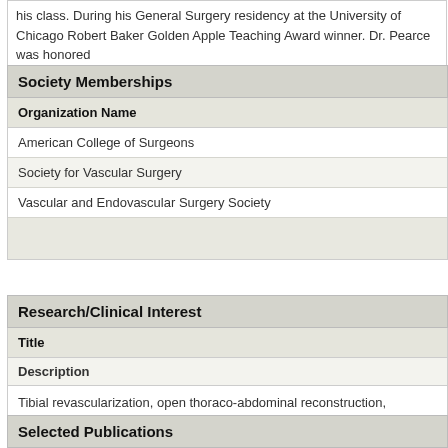his class. During his General Surgery residency at the University of Chicago Robert Baker Golden Apple Teaching Award winner. Dr. Pearce was honored
Society Memberships
| Organization Name |
| --- |
| American College of Surgeons |
| Society for Vascular Surgery |
| Vascular and Endovascular Surgery Society |
|  |
Research/Clinical Interest
| Title |
| --- |
| Description |
| Tibial revascularization, open thoraco-abdominal reconstruction, complex end management of iatrogenic injury. |
Selected Publications